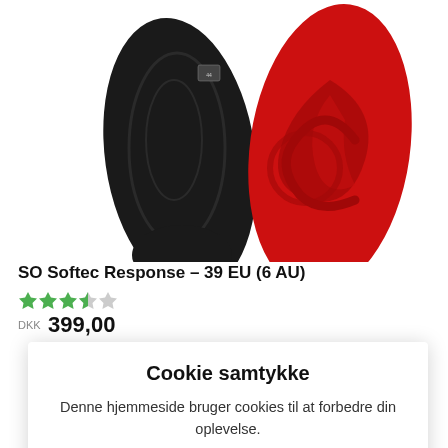[Figure (photo): Two shoe insoles side by side: one black on left, one red on right, shown from top view against white background.]
SO Softec Response – 39 EU (6 AU)
[Figure (other): Star rating: 3.5 out of 5 green stars]
DKK 399,00
Cookie samtykke
Denne hjemmeside bruger cookies til at forbedre din oplevelse.
Cookie indstillinger
Tillad
[Figure (photo): Partial view of two more insoles at bottom of page: black on left, red on right.]